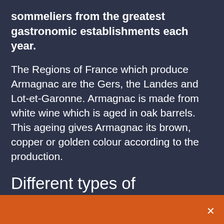sommeliers from the greatest gastronomic establishments each year.
The Regions of France which produce Armagnac are the Gers, the Landes and Lot-et-Garonne. Armagnac is made from white wine which is aged in oak barrels. This ageing gives Armagnac its brown, copper or golden colour according to the production.
Different types of Armagnac can be distinguished by several